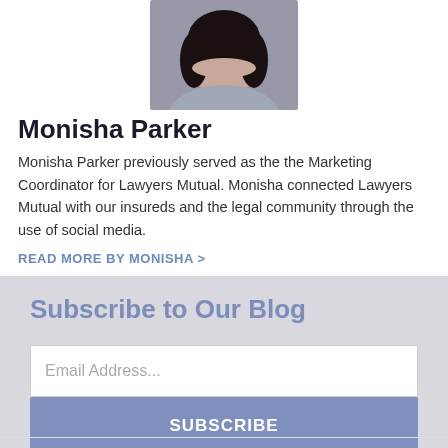[Figure (photo): Photo of Monisha Parker, a woman with dark curly hair, partially cropped at top of page]
Monisha Parker
Monisha Parker previously served as the the Marketing Coordinator for Lawyers Mutual. Monisha connected Lawyers Mutual with our insureds and the legal community through the use of social media.
READ MORE BY MONISHA >
Subscribe to Our Blog
Email Address...
SUBSCRIBE